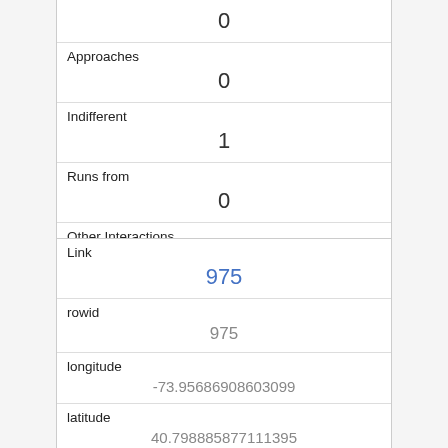|  | 0 |
| Approaches | 0 |
| Indifferent | 1 |
| Runs from | 0 |
| Other Interactions |  |
| Lat/Long | POINT (-73.967042958599 40.7784370719371) |
| Link | 975 |
| rowid | 975 |
| longitude | -73.95686908603099 |
| latitude | 40.798885877111395 |